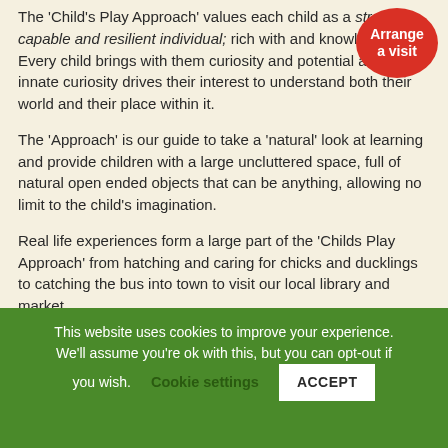The 'Child's Play Approach' values each child as a strong, capable and resilient individual; rich with and knowledge. Every child brings with them curiosity and potential and this innate curiosity drives their interest to understand both their world and their place within it.
[Figure (other): Red oval button with white text reading 'Arrange a visit']
The 'Approach' is our guide to take a 'natural' look at learning and provide children with a large uncluttered space, full of natural open ended objects that can be anything, allowing no limit to the child's imagination.
Real life experiences form a large part of the 'Childs Play Approach' from hatching and caring for chicks and ducklings to catching the bus into town to visit our local library and market.
This website uses cookies to improve your experience. We'll assume you're ok with this, but you can opt-out if you wish. Cookie settings ACCEPT